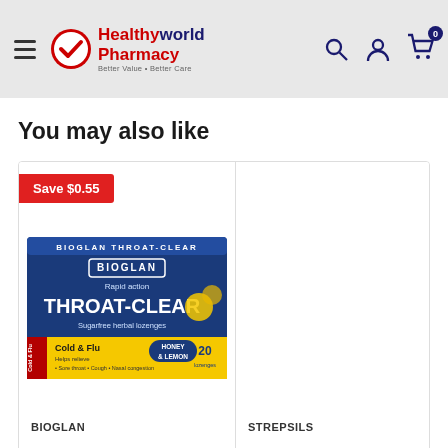Healthyworld Pharmacy
You may also like
[Figure (photo): Bioglan Rapid Action Throat-Clear Sugarfree herbal lozenges Cold & Flu Honey & Lemon 20 lozenges product box]
Save $0.55
BIOGLAN
STREPSILS